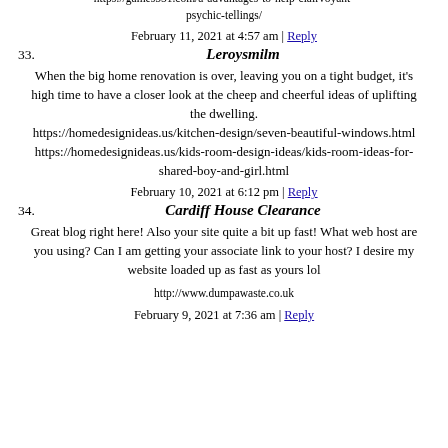https://games551.com/a-advantages-to-help-clairvoyant-psychic-tellings/
February 11, 2021 at 4:57 am | Reply
33. Leroysmilm
When the big home renovation is over, leaving you on a tight budget, it’s high time to have a closer look at the cheep and cheerful ideas of uplifting the dwelling. https://homedesignideas.us/kitchen-design/seven-beautiful-windows.html https://homedesignideas.us/kids-room-design-ideas/kids-room-ideas-for-shared-boy-and-girl.html
February 10, 2021 at 6:12 pm | Reply
34. Cardiff House Clearance
Great blog right here! Also your site quite a bit up fast! What web host are you using? Can I am getting your associate link to your host? I desire my website loaded up as fast as yours lol
http://www.dumpawaste.co.uk
February 9, 2021 at 7:36 am | Reply